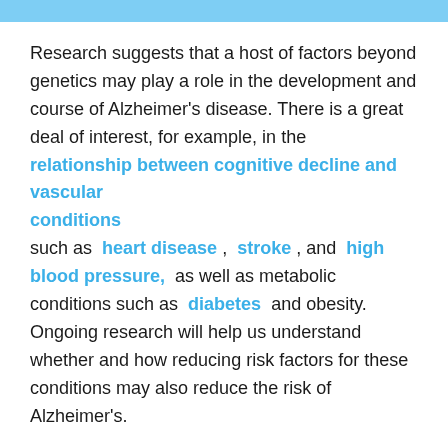[Figure (other): Light blue horizontal bar at the top of the page]
Research suggests that a host of factors beyond genetics may play a role in the development and course of Alzheimer's disease. There is a great deal of interest, for example, in the relationship between cognitive decline and vascular conditions such as heart disease, stroke, and high blood pressure, as well as metabolic conditions such as diabetes and obesity. Ongoing research will help us understand whether and how reducing risk factors for these conditions may also reduce the risk of Alzheimer's.
A nutritious diet, physical activity, social engagement, sleep, and mentally stimulating pursuits have all been associated with helping people stay healthy as they age. These factors might also help reduce the risk of cognitive decline and